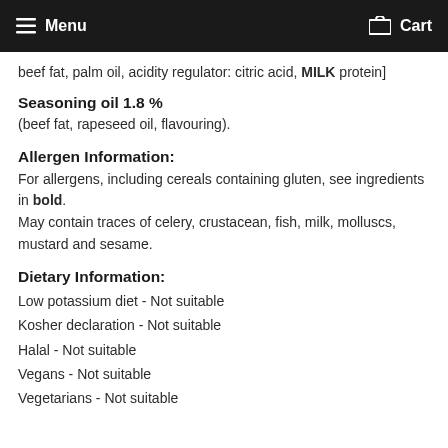Menu   Cart
beef fat, palm oil, acidity regulator: citric acid, MILK protein]
Seasoning oil 1.8 %
(beef fat, rapeseed oil, flavouring).
Allergen Information:
For allergens, including cereals containing gluten, see ingredients in bold. May contain traces of celery, crustacean, fish, milk, molluscs, mustard and sesame.
Dietary Information:
Low potassium diet - Not suitable
Kosher declaration - Not suitable
Halal - Not suitable
Vegans - Not suitable
Vegetarians - Not suitable